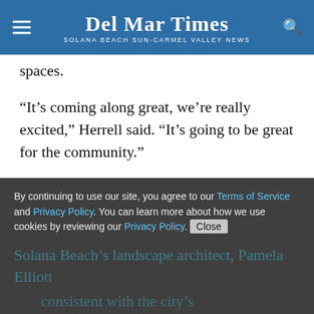Del Mar Times — Solana Beach Sun-Carmel Valley News
spaces.
“It’s coming along great, we’re really excited,” Herrell said. “It’s going to be great for the community.”
Updates to the final plan included an increase in the number of trees and a change in the species of some of the trees to match the trees that are already located within close proximity, according to Solana Beach Community Development Director Joseph Lim.
By continuing to use our site, you agree to our Terms of Service and Privacy Policy. You can learn more about how we use cookies by reviewing our Privacy Policy. Close
Solana Beach’s landscape architect, Pamela Elliot… consistent with the city’s